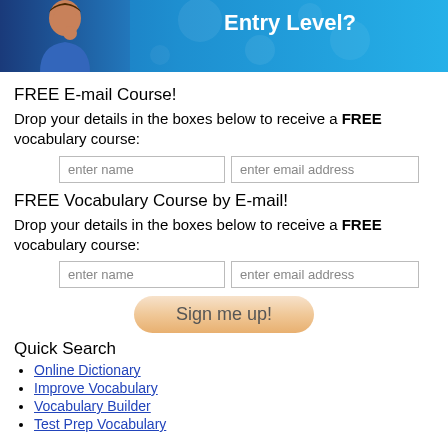[Figure (illustration): Banner with woman thinking and blue gradient background with text 'Entry Level?']
FREE E-mail Course!
Drop your details in the boxes below to receive a FREE vocabulary course:
FREE Vocabulary Course by E-mail!
Drop your details in the boxes below to receive a FREE vocabulary course:
[Figure (other): Sign me up! button, orange/tan rounded pill shape]
Quick Search
Online Dictionary
Improve Vocabulary
Vocabulary Builder
Test Prep Vocabulary